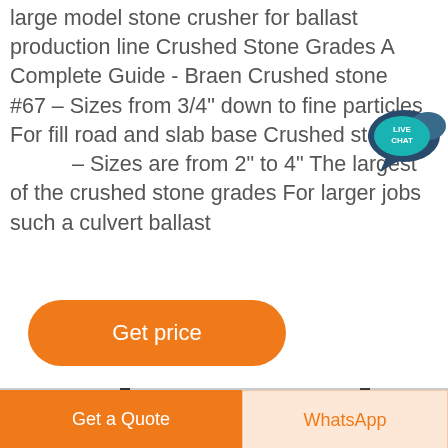large model stone crusher for ballast production line Crushed Stone Grades A Complete Guide - Braen Crushed stone #67 – Sizes from 3/4" down to fine particles For fill road and slab base Crushed sto – Sizes are from 2" to 4" The largest of the crushed stone grades For larger jobs such a culvert ballast
[Figure (screenshot): Live Chat speech bubble icon badge in teal/dark blue with 'LIVE CHAT' text]
[Figure (other): Orange rounded rectangle 'Get price' button]
[Figure (photo): Photo of a large industrial steel frame structure / building under construction against a cloudy sky]
[Figure (other): Dark circular scroll-to-top button with upward chevron]
[Figure (other): Bottom navigation bar with orange 'Get a Quote' button and light 'WhatsApp' button]